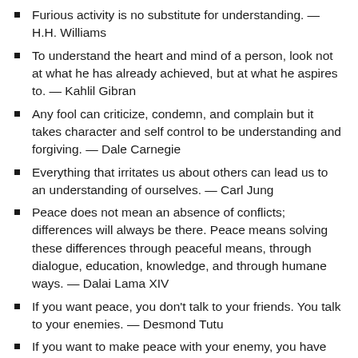Furious activity is no substitute for understanding. — H.H. Williams
To understand the heart and mind of a person, look not at what he has already achieved, but at what he aspires to. — Kahlil Gibran
Any fool can criticize, condemn, and complain but it takes character and self control to be understanding and forgiving. — Dale Carnegie
Everything that irritates us about others can lead us to an understanding of ourselves. — Carl Jung
Peace does not mean an absence of conflicts; differences will always be there. Peace means solving these differences through peaceful means, through dialogue, education, knowledge, and through humane ways. — Dalai Lama XIV
If you want peace, you don't talk to your friends. You talk to your enemies. — Desmond Tutu
If you want to make peace with your enemy, you have to work with your enemy. Then he becomes your partner...